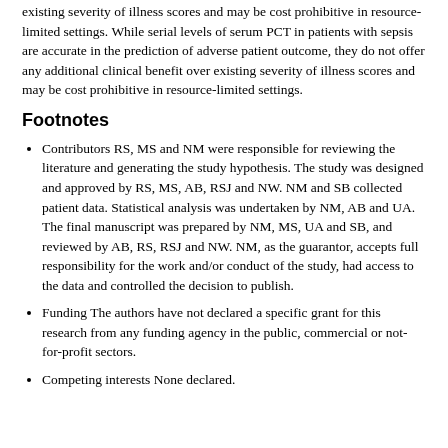existing severity of illness scores and may be cost prohibitive in resource-limited settings. While serial levels of serum PCT in patients with sepsis are accurate in the prediction of adverse patient outcome, they do not offer any additional clinical benefit over existing severity of illness scores and may be cost prohibitive in resource-limited settings.
Footnotes
Contributors RS, MS and NM were responsible for reviewing the literature and generating the study hypothesis. The study was designed and approved by RS, MS, AB, RSJ and NW. NM and SB collected patient data. Statistical analysis was undertaken by NM, AB and UA. The final manuscript was prepared by NM, MS, UA and SB, and reviewed by AB, RS, RSJ and NW. NM, as the guarantor, accepts full responsibility for the work and/or conduct of the study, had access to the data and controlled the decision to publish.
Funding The authors have not declared a specific grant for this research from any funding agency in the public, commercial or not-for-profit sectors.
Competing interests None declared.